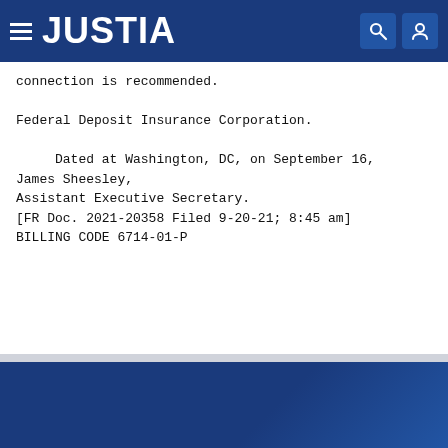JUSTIA
connection is recommended.

Federal Deposit Insurance Corporation.

    Dated at Washington, DC, on September 16,
James Sheesley,
Assistant Executive Secretary.
[FR Doc. 2021-20358 Filed 9-20-21; 8:45 am]
BILLING CODE 6714-01-P